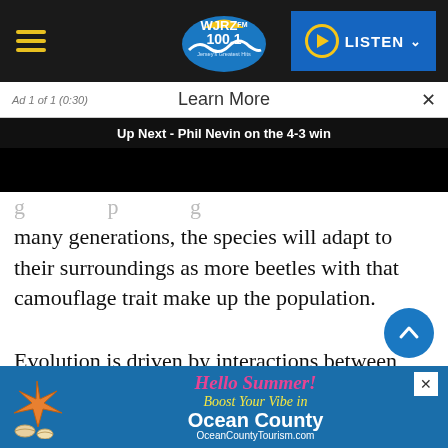[Figure (screenshot): WJRZ 100.1 FM radio station website header with hamburger menu, logo, and blue Listen button with chevron]
Ad 1 of 1 (0:30)   Learn More   ×
Up Next - Phil Nevin on the 4-3 win
many generations, the species will adapt to their surroundings as more beetles with that camouflage trait make up the population.
Evolution is driven by interactions between genetics and nature, and the Earth's rock layers preserve a record of this process. By studying
[Figure (illustration): Ocean County Tourism Hello Summer Boost Your Vibe advertisement banner]